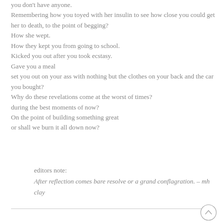you don't have anyone.
Remembering how you toyed with her insulin to see how close you could get her to death, to the point of begging?
How she wept.
How they kept you from going to school.
Kicked you out after you took ecstasy.
Gave you a meal
set you out on your ass with nothing but the clothes on your back and the car you bought?
Why do these revelations come at the worst of times?
during the best moments of now?
On the point of building something great
or shall we burn it all down now?
editors note:
After reflection comes bare resolve or a grand conflagration. – mh clay